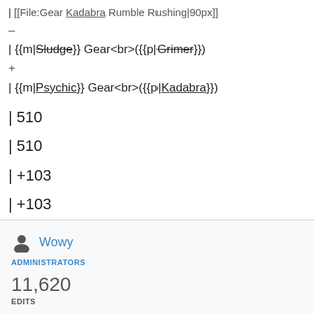| [[File:Gear Kadabra Rumble Rushing|90px]]
–
| {{m|Sludge}} Gear<br>({{p|Grimer}})
+
| {{m|Psychic}} Gear<br>({{p|Kadabra}})
| 510
| 510
| +103
| +103
Wowy
ADMINISTRATORS
11,620
EDITS